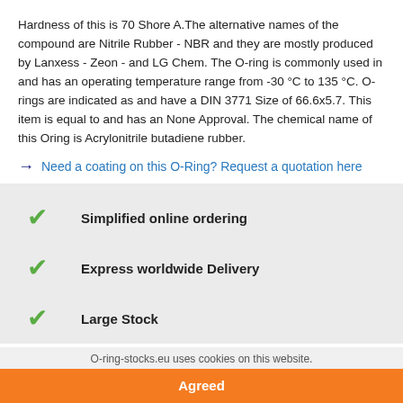Hardness of this is 70 Shore A.The alternative names of the compound are Nitrile Rubber - NBR and they are mostly produced by Lanxess - Zeon - and LG Chem. The O-ring is commonly used in and has an operating temperature range from -30 °C to 135 °C. O-rings are indicated as and have a DIN 3771 Size of 66.6x5.7. This item is equal to and has an None Approval. The chemical name of this Oring is Acrylonitrile butadiene rubber.
→ Need a coating on this O-Ring? Request a quotation here
Simplified online ordering
Express worldwide Delivery
Large Stock
O-ring-stocks.eu uses cookies on this website.
Agreed